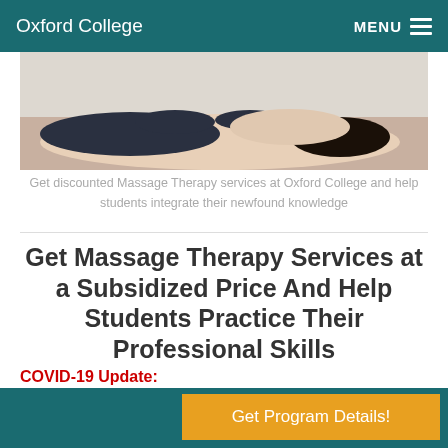Oxford College  MENU
[Figure (photo): A massage therapy session showing a therapist working on a patient lying face down]
Get discounted Massage Therapy services at Oxford College and help students integrate their newfound knowledge
Get Massage Therapy Services at a Subsidized Price And Help Students Practice Their Professional Skills
COVID-19 Update:
We are excited to let you know that we are gradually opening our clinics across our campuses.
Get Program Details!